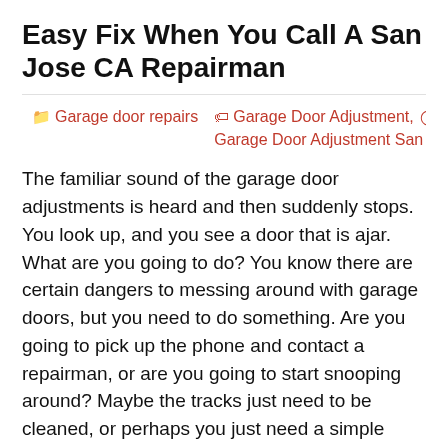Easy Fix When You Call A San Jose CA Repairman
🗂 Garage door repairs  🏷 Garage Door Adjustment, Garage Door Adjustment San Jose, San Jose Garage Door Ad  🕐
The familiar sound of the garage door adjustments is heard and then suddenly stops. You look up, and you see a door that is ajar. What are you going to do? You know there are certain dangers to messing around with garage doors, but you need to do something. Are you going to pick up the phone and contact a repairman, or are you going to start snooping around? Maybe the tracks just need to be cleaned, or perhaps you just need a simple garage door adjustment done.
You know whether or not you have